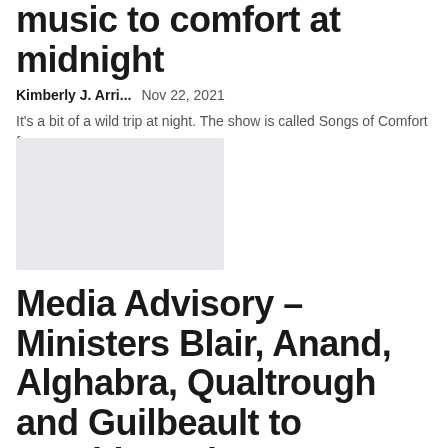music to comfort at midnight
Kimberly J. Arri...   Nov 22, 2021
It's a bit of a wild trip at night. The show is called Songs of Comfort for...
[Figure (photo): Placeholder image (light gray rectangle)]
Media Advisory – Ministers Blair, Anand, Alghabra, Qualtrough and Guilbeault to provide update...